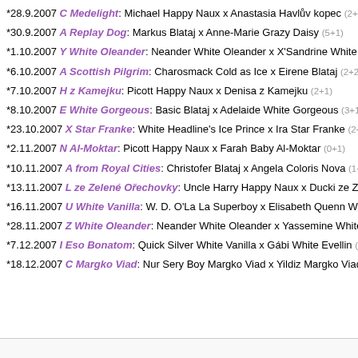*28.9.2007 C Medelight: Michael Happy Naux x Anastasia Havlův kopec (2+2)
*30.9.2007 A Replay Dog: Markus Blataj x Anne-Marie Grazy Daisy (5+1)
*1.10.2007 Y White Oleander: Neander White Oleander x X'Sandrine White Olea…
*6.10.2007 A Scottish Pilgrim: Charosmack Cold as Ice x Eirene Blataj (2+2)
*7.10.2007 H z Kamejku: Picott Happy Naux x Denisa z Kamejku (2+1)
*8.10.2007 E White Gorgeous: Basic Blataj x Adelaide White Gorgeous (3+1)
*23.10.2007 X Star Franke: White Headline's Ice Prince x Ira Star Franke (2+0)
*2.11.2007 N Al-Moktar: Picott Happy Naux x Farah Baby Al-Moktar (0+1)
*10.11.2007 A from Royal Cities: Christofer Blataj x Angela Coloris Nova (1+2)
*13.11.2007 L ze Zelené Ořechovky: Uncle Harry Happy Naux x Ducki ze Zelené…
*16.11.2007 U White Vanilla: W. D. O'La La Superboy x Elisabeth Quenn White V…
*28.11.2007 Z White Oleander: Neander White Oleander x Yassemine White Olea…
*7.12.2007 I Eso Bonatom: Quick Silver White Vanilla x Gábi White Evellin (2+1)
*18.12.2007 C Margko Viad: Nur Sery Boy Margko Viad x Yildiz Margko Viad (0+1)